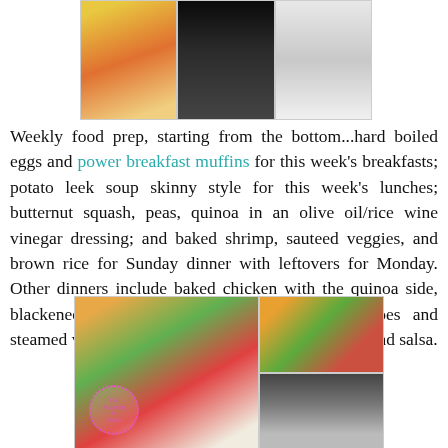[Figure (photo): Three food photos side by side at top: a bowl of scrambled eggs with vegetables, a close-up of a black cat, and a kitchen appliance (stove/microwave).]
Weekly food prep, starting from the bottom...hard boiled eggs and power breakfast muffins for this week's breakfasts; potato leek soup skinny style for this week's lunches; butternut squash, peas, quinoa in an olive oil/rice wine vinegar dressing; and baked shrimp, sauteed veggies, and brown rice for Sunday dinner with leftovers for Monday. Other dinners include baked chicken with the quinoa side, blackened salmon with roasted fingerling potatoes and steamed veggies, and eggs scrambled with veggies and salsa.
[Figure (photo): Food collage: large photo of shrimp with brown rice, sauteed greens, mushrooms, and cherry tomatoes on a white plate with Life According to Steph watermark; top right shows butternut squash quinoa peas dish; bottom right shows oven with food.]